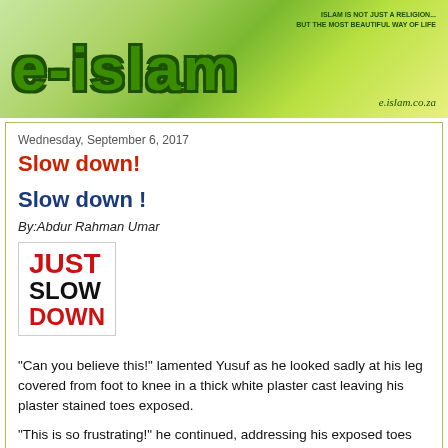[Figure (logo): E-islam website header banner with large green logo text 'e-islam', tagline 'ISLAM IS NOT JUST A RELIGION... BUT THE MOST BEAUTIFUL WAY OF LIFE', and URL 'e.islam.co.za']
Wednesday, September 6, 2017
Slow down!
Slow down !
By:Abdur Rahman Umar
[Figure (illustration): White box with bold text 'JUST SLOW DOWN' - JUST in red, SLOW in black, DOWN in red]
"Can you believe this!" lamented Yusuf as he looked sadly at his leg covered from foot to knee in a thick white plaster cast leaving his plaster stained toes exposed.
"This is so frustrating!" he continued, addressing his exposed toes